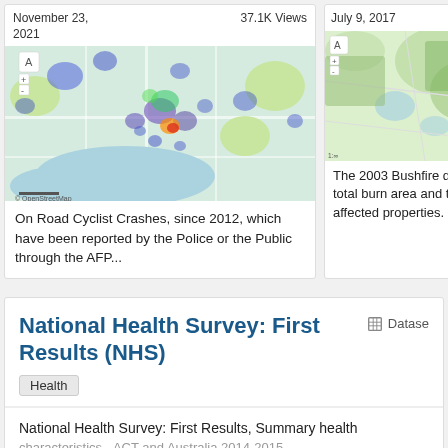November 23, 2021
37.1K Views
[Figure (map): Heatmap overlay on a street map showing on-road cyclist crashes around a city area, with blue/green/yellow/red hotspots indicating crash density.]
On Road Cyclist Crashes, since 2012, which have been reported by the Police or the Public through the AFP...
July 9, 2017
[Figure (map): Green terrain map showing the 2003 Bushfire area with regional boundaries.]
The 2003 Bushfire data total burn area and the affected properties.
National Health Survey: First Results (NHS)
Dataset
Health
National Health Survey: First Results, Summary health characteristics - ACT and Australia 2014-2015
More